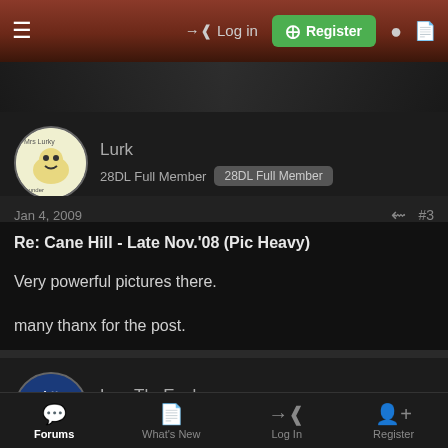Log in | Register
[Figure (screenshot): Forum banner/header image with dark background]
Lurk
28DL Full Member  [28DL Full Member]
Jan 4, 2009  #3
Re: Cane Hill - Late Nov.'08 (Pic Heavy)
Very powerful pictures there.

many thanx for the post.
LoraTheExplorer
28DL Member  [28DL Member]
Forums  What's New  Log In  Register